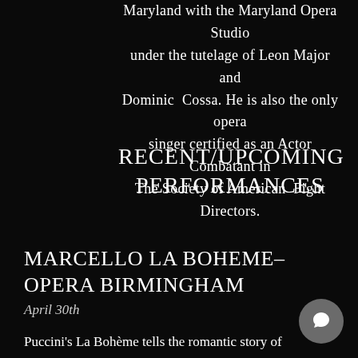Maryland with the Maryland Opera Studio under the tutelage of Leon Major and Dominic Cossa. He is also the only opera singer certified as an Actor Combatant in The Society of American Fight Directors.
RECENT/UPCOMING PERFORMANCES
MARCELLO LA BOHEME– OPERA BIRMINGHAM
April 30th
Puccini's La Bohème tells the romantic story of a group of friends in Paris as they search for